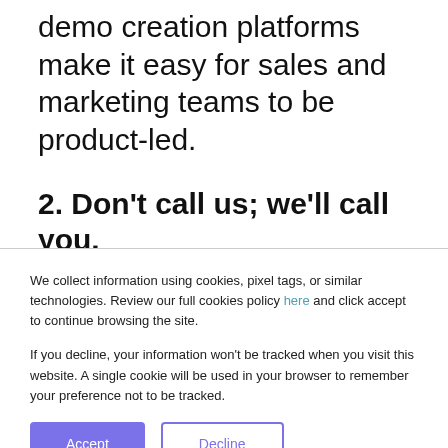demo creation platforms make it easy for sales and marketing teams to be product-led.
2. Don't call us; we'll call you.
In the 90s movie, Swingers, there's a scene where the lead character, Mikey, leaves message after message on the answering
We collect information using cookies, pixel tags, or similar technologies. Review our full cookies policy here and click accept to continue browsing the site.

If you decline, your information won't be tracked when you visit this website. A single cookie will be used in your browser to remember your preference not to be tracked.